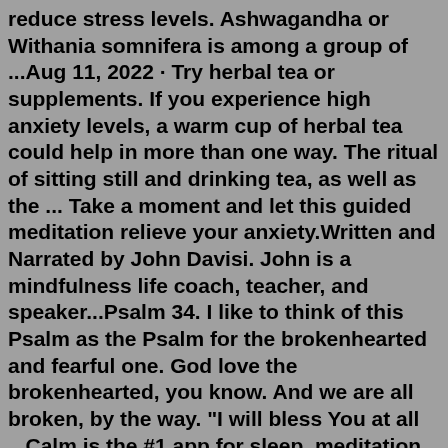reduce stress levels. Ashwagandha or Withania somnifera is among a group of ...Aug 11, 2022 · Try herbal tea or supplements. If you experience high anxiety levels, a warm cup of herbal tea could help in more than one way. The ritual of sitting still and drinking tea, as well as the ... Take a moment and let this guided meditation relieve your anxiety.Written and Narrated by John Davisi. John is a mindfulness life coach, teacher, and speaker...Psalm 34. I like to think of this Psalm as the Psalm for the brokenhearted and fearful one. God love the brokenhearted, you know. And we are all broken, by the way. "I will bless You at all ...Calm is the #1 app for sleep, meditation and relaxation. Sleep better, relieve stress, lower anxiety and refocus your attention. Guided meditations, Sleep Stories, breathwork, exclusive music and stretching exercises fill our extensive library. Discover a happier, healthier you through Calm. Prioritize self-care and choose a guided meditation ... books by kenneth roberts A Little SPOT of Anxiety: A Story About Calming You...